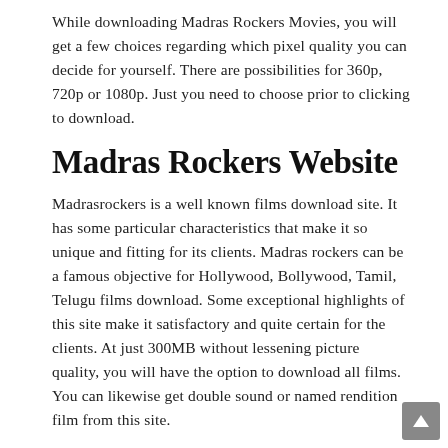While downloading Madras Rockers Movies, you will get a few choices regarding which pixel quality you can decide for yourself. There are possibilities for 360p, 720p or 1080p. Just you need to choose prior to clicking to download.
Madras Rockers Website
Madrasrockers is a well known films download site. It has some particular characteristics that make it so unique and fitting for its clients. Madras rockers can be a famous objective for Hollywood, Bollywood, Tamil, Telugu films download. Some exceptional highlights of this site make it satisfactory and quite certain for the clients. At just 300MB without lessening picture quality, you will have the option to download all films. You can likewise get double sound or named rendition film from this site.
Our huge assortment of libraries of numerous kinds of Madras Rockers films is appropriate for all film sweethearts. With this sort of collection, motion pictures are arranged into a few locales. Else, it dazzles the guest as they attempt to visit